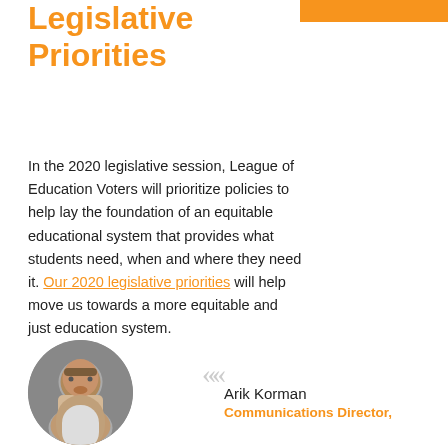Legislative Priorities
In the 2020 legislative session, League of Education Voters will prioritize policies to help lay the foundation of an equitable educational system that provides what students need, when and where they need it. Our 2020 legislative priorities will help move us towards a more equitable and just education system.
[Figure (photo): Circular headshot photo of Arik Korman, a man in a light-colored shirt, smiling]
Arik Korman
Communications Director,